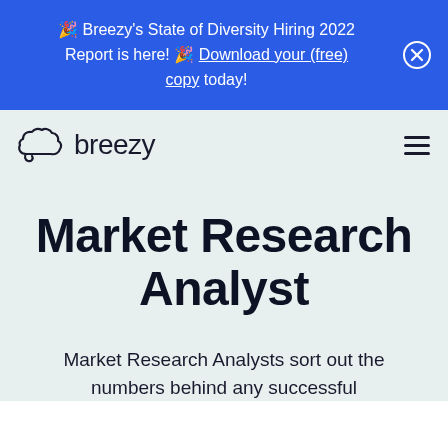🎉 Breezy's State of Diversity Hiring 2022 Report is here! 🎉 Download your (free) copy today!
[Figure (logo): Breezy HR logo with cloud icon and wordmark 'breezy']
Market Research Analyst
Market Research Analysts sort out the numbers behind any successful